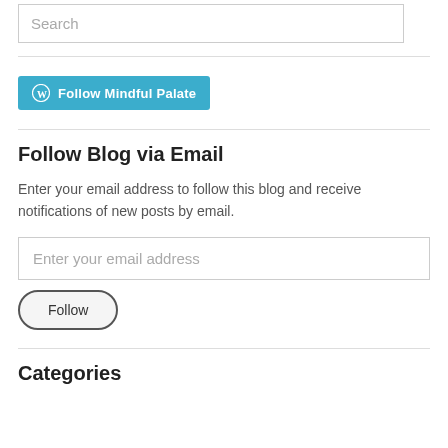Search
[Figure (other): WordPress Follow Mindful Palate button — teal/cyan rounded rectangle with WordPress logo icon and bold white text]
Follow Blog via Email
Enter your email address to follow this blog and receive notifications of new posts by email.
Enter your email address
Follow
Categories